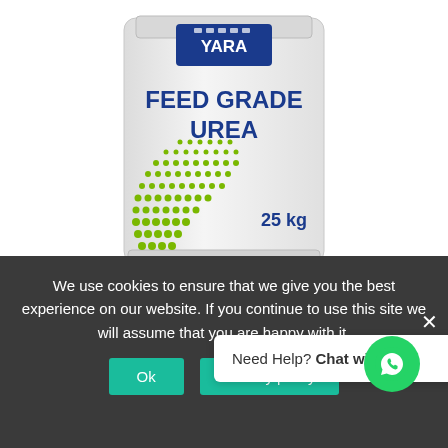[Figure (photo): A white bag of Yara Feed Grade Urea, 25 kg, with green dot pattern decoration in the lower left corner and the Yara logo at the top]
Urea Feed Grade 50Kg
R953.14 incl
We use cookies to ensure that we give you the best experience on our website. If you continue to use this site we will assume that you are happy with it.
Need Help? Chat with us
Ok
Privacy policy